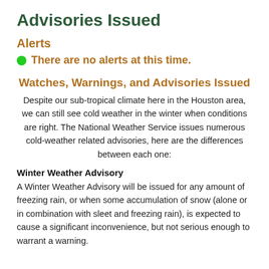Advisories Issued
Alerts
There are no alerts at this time.
Watches, Warnings, and Advisories Issued
Despite our sub-tropical climate here in the Houston area, we can still see cold weather in the winter when conditions are right. The National Weather Service issues numerous cold-weather related advisories, here are the differences between each one:
Winter Weather Advisory
A Winter Weather Advisory will be issued for any amount of freezing rain, or when some accumulation of snow (alone or in combination with sleet and freezing rain), is expected to cause a significant inconvenience, but not serious enough to warrant a warning.